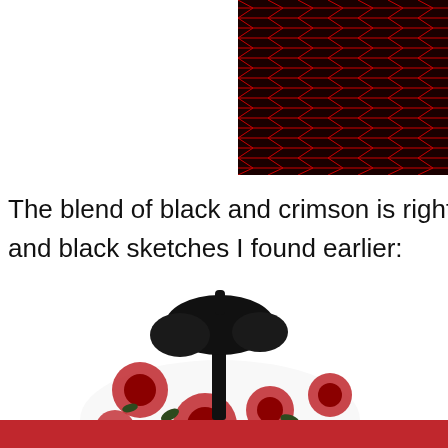[Figure (photo): Close-up texture image of a black and crimson/red woven or knit fabric pattern with a repeating maze-like or herringbone design.]
The blend of black and crimson is right out of and black sketches I found earlier:
[Figure (photo): A black and white jacket/coat with red rose floral print and black fur/feather collar trim, shown on a mannequin.]